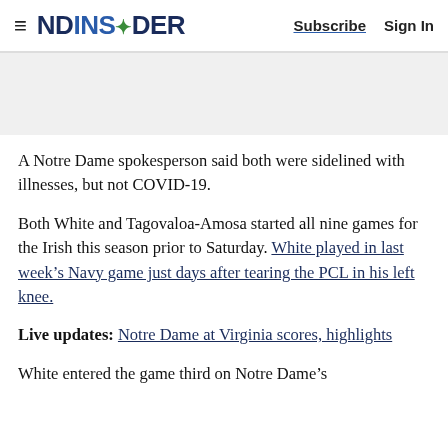NDINSiDER  Subscribe  Sign In
[Figure (other): Gray advertisement banner placeholder]
A Notre Dame spokesperson said both were sidelined with illnesses, but not COVID-19.
Both White and Tagovaloa-Amosa started all nine games for the Irish this season prior to Saturday. White played in last week’s Navy game just days after tearing the PCL in his left knee.
Live updates: Notre Dame at Virginia scores, highlights
White entered the game third on Notre Dame’s